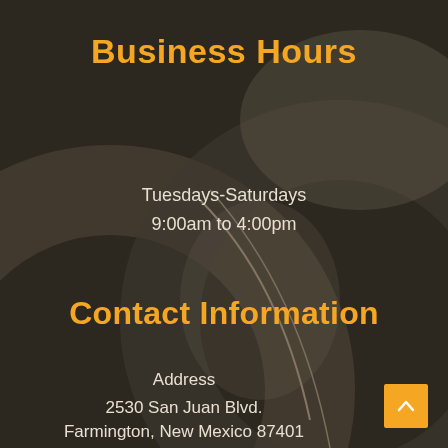Business Hours
Tuesdays-Saturdays
9:00am to 4:00pm
Contact Information
Address
2530 San Juan Blvd.
Farmington, New Mexico 87401